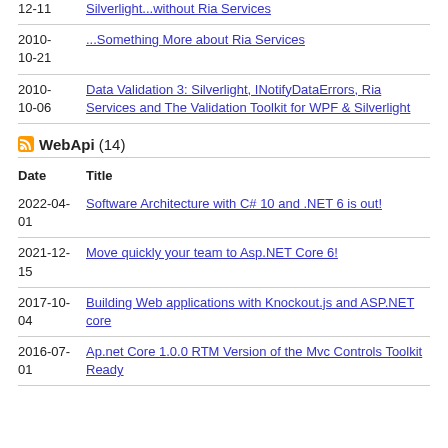12-11 | Silverlight...without Ria Services
2010-10-21 | ...Something More about Ria Services
2010-10-06 | Data Validation 3: Silverlight, INotifyDataErrors, Ria Services and The Validation Toolkit for WPF & Silverlight
WebApi (14)
| Date | Title |
| --- | --- |
| 2022-04-01 | Software Architecture with C# 10 and .NET 6 is out! |
| 2021-12-15 | Move quickly your team to Asp.NET Core 6! |
| 2017-10-04 | Building Web applications with Knockout.js and ASP.NET core |
| 2016-07-01 | Ap.net Core 1.0.0 RTM Version of the Mvc Controls Toolkit Ready |